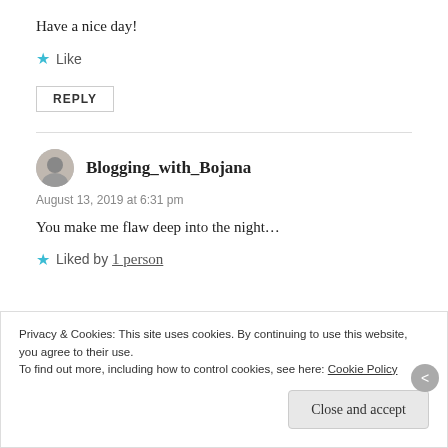Have a nice day!
★ Like
REPLY
Blogging_with_Bojana
August 13, 2019 at 6:31 pm
You make me flaw deep into the night…
★ Liked by 1 person
Privacy & Cookies: This site uses cookies. By continuing to use this website, you agree to their use.
To find out more, including how to control cookies, see here: Cookie Policy
Close and accept